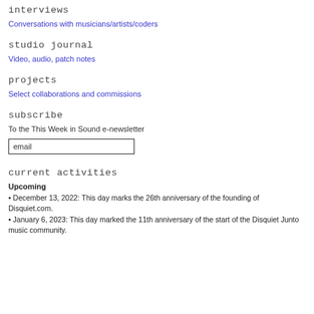interviews
Conversations with musicians/artists/coders
studio journal
Video, audio, patch notes
projects
Select collaborations and commissions
subscribe
To the This Week in Sound e-newsletter
email
current activities
Upcoming
• December 13, 2022: This day marks the 26th anniversary of the founding of Disquiet.com.
• January 6, 2023: This day marked the 11th anniversary of the start of the Disquiet Junto music community.